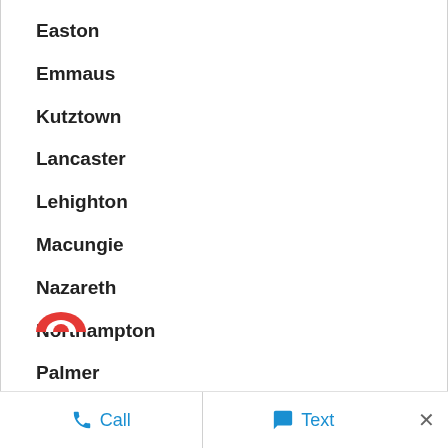Easton
Emmaus
Kutztown
Lancaster
Lehighton
Macungie
Nazareth
Northampton
Palmer
Palmerton
Call   Text